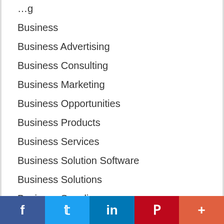Business
Business Advertising
Business Consulting
Business Marketing
Business Opportunities
Business Products
Business Services
Business Solution Software
Business Solutions
Business Supplies
Business to Business
Cabinet Showrooms
Cabinets
[Figure (other): Social sharing bar with Facebook, Twitter, LinkedIn, Pinterest, and More (+) buttons]